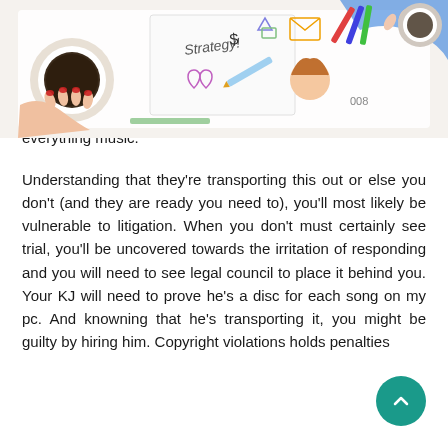[Figure (illustration): Banner image showing hands around a table with strategy notes, doodles, pencils, coffee, and financial sketches on a white background]
Investigators are on the move and coming at clubs like yours. They're documenting using hard drives and computer by KJ's, the legal ones. It is because they need to see whether everyone shows has some manufactured dvds which have been bought and compensated to copy everything music.
Understanding that they're transporting this out or else you don't (and they are ready you need to), you'll most likely be vulnerable to litigation. When you don't must certainly see trial, you'll be uncovered towards the irritation of responding and you will need to see legal council to place it behind you. Your KJ will need to prove he's a disc for each song on my pc. And knowning that he's transporting it, you might be guilty by hiring him. Copyright violations holds penalties